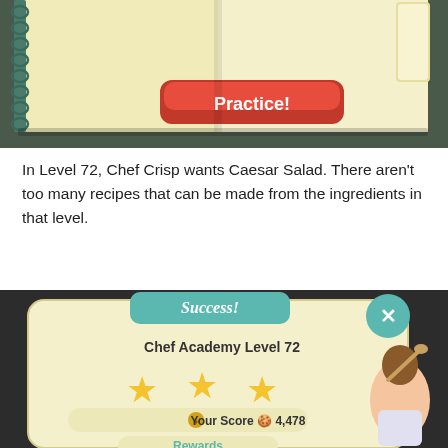[Figure (screenshot): Screenshot of a cooking game showing an open recipe book with spiral binding on the left and a large orange-red 'Practice!' button in the center.]
In Level 72, Chef Crisp wants Caesar Salad. There aren't too many recipes that can be made from the ingredients in that level.
[Figure (screenshot): Screenshot of a cooking game showing a 'Success!' screen for Chef Academy Level 72 with three gold stars, a score of 4,478, a Rewards button, and a cartoon female chef character on the right.]